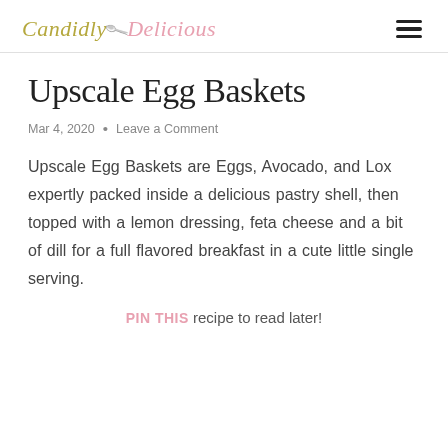Candidly Delicious
Upscale Egg Baskets
Mar 4, 2020  •  Leave a Comment
Upscale Egg Baskets are Eggs, Avocado, and Lox expertly packed inside a delicious pastry shell, then topped with a lemon dressing, feta cheese and a bit of dill for a full flavored breakfast in a cute little single serving.
PIN THIS recipe to read later!